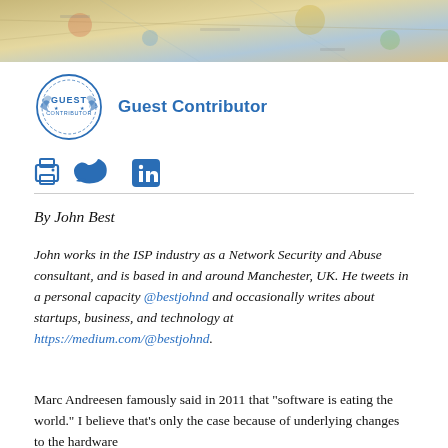[Figure (photo): Top strip: partial map image, cropped photograph of a colorful geographic map]
[Figure (logo): Guest Contributor badge: circular blue-border badge with text 'GUEST' and decorative elements]
Guest Contributor
[Figure (other): Social share icons row: printer icon, Twitter bird icon, LinkedIn square icon — all in blue]
By John Best
John works in the ISP industry as a Network Security and Abuse consultant, and is based in and around Manchester, UK. He tweets in a personal capacity @bestjohnd and occasionally writes about startups, business, and technology at https://medium.com/@bestjohnd.
Marc Andreesen famously said in 2011 that “software is eating the world.” I believe that’s only the case because of underlying changes to the hardware